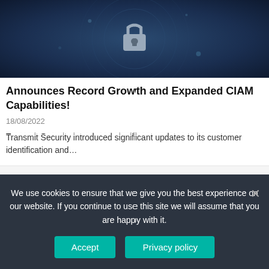[Figure (photo): Dark blue security-themed image with padlock icon and circular radar/tech overlay]
Announces Record Growth and Expanded CIAM Capabilities!
18/08/2022
Transmit Security introduced significant updates to its customer identification and…
[Figure (photo): Dark blue security image featuring a padlock with chains and Infosecurity Outlook badge]
Davenport Group
We use cookies to ensure that we give you the best experience on our website. If you continue to use this site we will assume that you are happy with it.